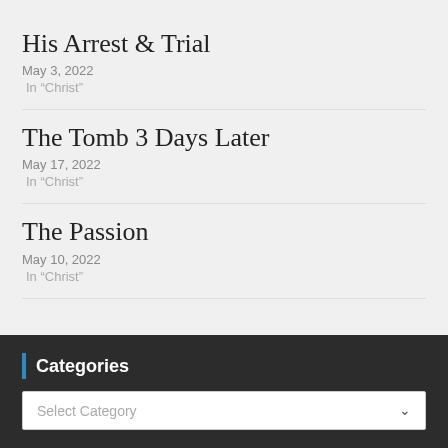His Arrest & Trial
May 3, 2022
In "Christ"
The Tomb 3 Days Later
May 17, 2022
In "Christ"
The Passion
May 10, 2022
In "Christ"
Categories
Select Category